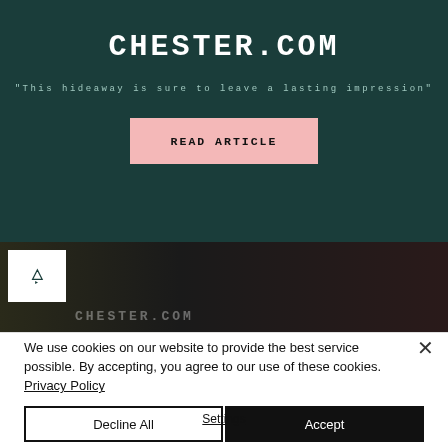[Figure (screenshot): Chester.com website banner with dark teal background, site title CHESTER.COM, tagline quote, and a pink READ ARTICLE button]
CHESTER.COM
"This hideaway is sure to leave a lasting impression"
READ ARTICLE
[Figure (photo): Partial photograph of a dark interior, possibly a hotel lobby or bar, with blurred lights and a small white logo box in lower left corner showing chester.com logo]
We use cookies on our website to provide the best service possible. By accepting, you agree to our use of these cookies. Privacy Policy
Decline All
Accept
Settings